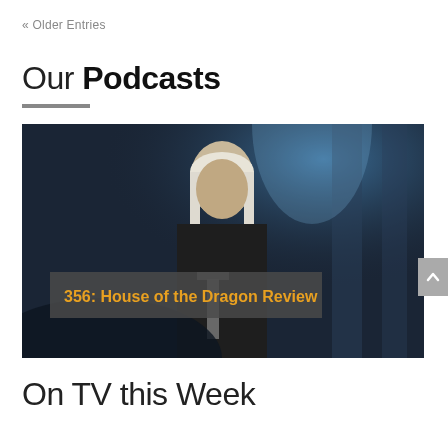« Older Entries
Our Podcasts
[Figure (photo): Promotional image for '356: House of the Dragon Review' podcast episode, showing a character with white hair holding a sword in a dark, dramatic setting. Overlay text reads '356: House of the Dragon Review' in gold/yellow bold font on a semi-transparent grey background.]
On TV this Week